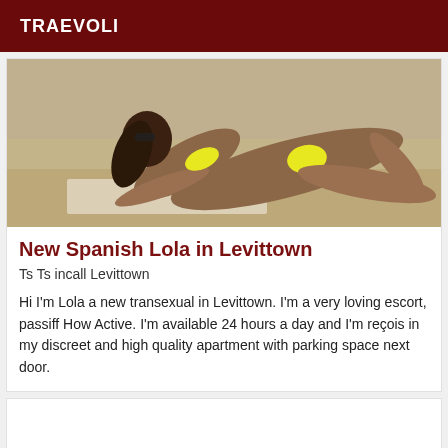TRAEVOLI
[Figure (photo): Woman in yellow bikini on beach sand, posed on all fours, dark hair, viewed from side angle]
New Spanish Lola in Levittown
Ts Ts incall Levittown
Hi I'm Lola a new transexual in Levittown. I'm a very loving escort, passiff How Active. I'm available 24 hours a day and I'm reçois in my discreet and high quality apartment with parking space next door.